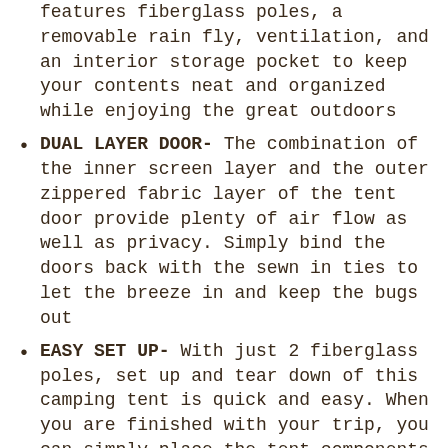features fiberglass poles, a removable rain fly, ventilation, and an interior storage pocket to keep your contents neat and organized while enjoying the great outdoors
DUAL LAYER DOOR- The combination of the inner screen layer and the outer zippered fabric layer of the tent door provide plenty of air flow as well as privacy. Simply bind the doors back with the sewn in ties to let the breeze in and keep the bugs out
EASY SET UP- With just 2 fiberglass poles, set up and tear down of this camping tent is quick and easy. When you are finished with your trip, you can simply place the tent components back into the included carrying bag to easily pack up and transport
PRODUCT DETAILS– Material: 190T